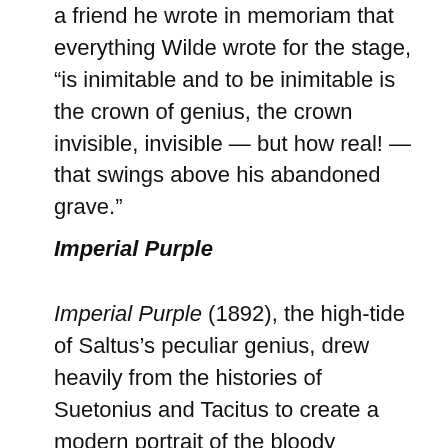a friend he wrote in memoriam that everything Wilde wrote for the stage, “is inimitable and to be inimitable is the crown of genius, the crown invisible, invisible — but how real! — that swings above his abandoned grave.”
Imperial Purple
Imperial Purple (1892), the high-tide of Saltus’s peculiar genius, drew heavily from the histories of Suetonius and Tacitus to create a modern portrait of the bloody pageantry of Rome, from the majestic Julius Caesar to Augustus, Tiberius, Caligula, the wicked Agrippina, Claudius and Nero, down to the freakish